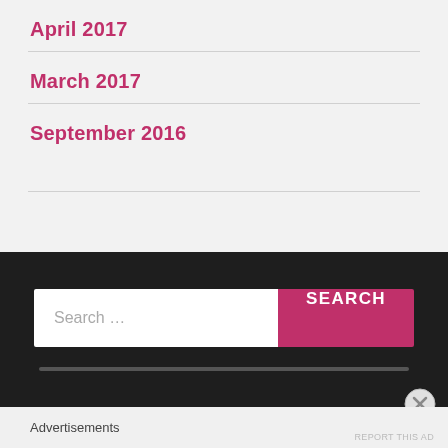April 2017
March 2017
September 2016
[Figure (screenshot): Dark footer section with a search bar containing placeholder text 'Search ...' and a pink SEARCH button, plus a loading progress bar and a close (X) button]
Advertisements
REPORT THIS AD